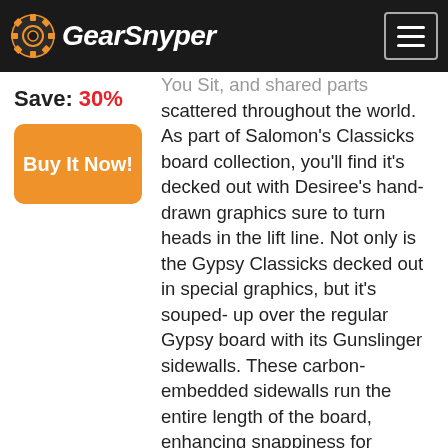GearSnyper
Save: 30%
Buy It Now!
scattered throughout the world. As part of Salomon's Classicks board collection, you'll find it's decked out with Desiree's hand-drawn graphics sure to turn heads in the lift line. Not only is the Gypsy Classicks decked out in special graphics, but it's souped-up over the regular Gypsy board with its Gunslinger sidewalls. These carbon-embedded sidewalls run the entire length of the board, enhancing snappiness for clearing large kickers while dampening vibration as you blast over choppy snow and stomp landings. The rest of the board is based off the regular Gypsy...